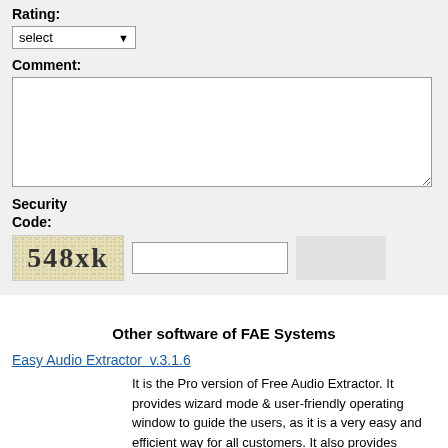Rating:
[Figure (screenshot): A dropdown select box showing 'select' with a down arrow]
Comment:
[Figure (screenshot): A large empty textarea for comment input]
Security Code:
[Figure (screenshot): CAPTCHA image showing '548xk' with noisy background, followed by an input field and a submit button]
Other software of FAE Systems
Easy Audio Extractor  v.3.1.6
It is the Pro version of Free Audio Extractor. It provides wizard mode & user-friendly operating window to guide the users, as it is a very easy and efficient way for all customers. It also provides various presets for precise output control.
Easy Burning Studio  v.4.2.5
Easy Burning Studio contains many tools to burn data or media CD/DVD, rip audio CD,